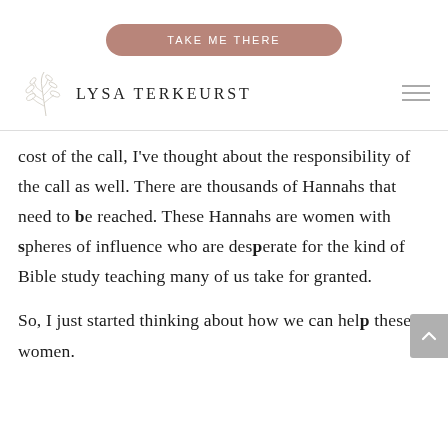TAKE ME THERE
[Figure (logo): Lysa TerKeurst logo with botanical leaf illustration and uppercase serif text]
cost of the call, I've thought about the responsibility of the call as well. There are thousands of Hannahs that need to be reached. These Hannahs are women with spheres of influence who are desperate for the kind of Bible study teaching many of us take for granted.
So, I just started thinking about how we can help these women.